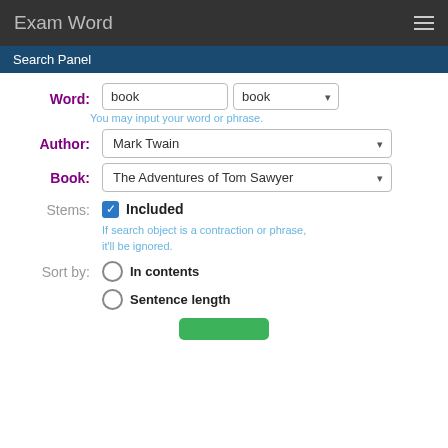Exam Word
Search Panel
Word:
book
book
You may input your word or phrase.
Author:
Mark Twain
Book:
The Adventures of Tom Sawyer
Stems:
Included
If search object is a contraction or phrase, it'll be ignored.
Sort by:
In contents
Sentence length